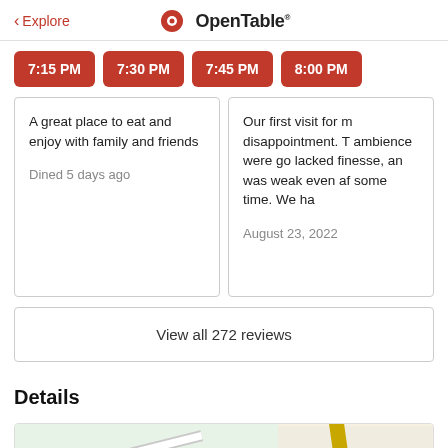< Explore   OpenTable
7:15 PM
7:30 PM
7:45 PM
8:00 PM
A great place to eat and enjoy with family and friends

Dined 5 days ago
Our first visit for m disappointment. T ambience were go lacked finesse, an was weak even af some time. We ha

August 23, 2022
View all 272 reviews
Details
[Figure (map): Map showing location near National Film, with road and green areas visible]